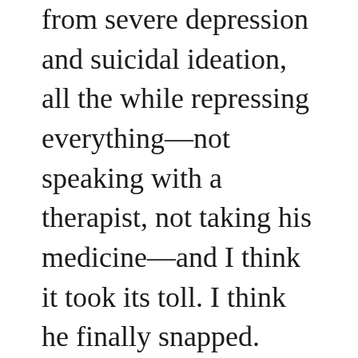from severe depression and suicidal ideation, all the while repressing everything—not speaking with a therapist, not taking his medicine—and I think it took its toll. I think he finally snapped. Worse yet, not one but three mental health evaluations all confirm what I find horrific: that a person can lose